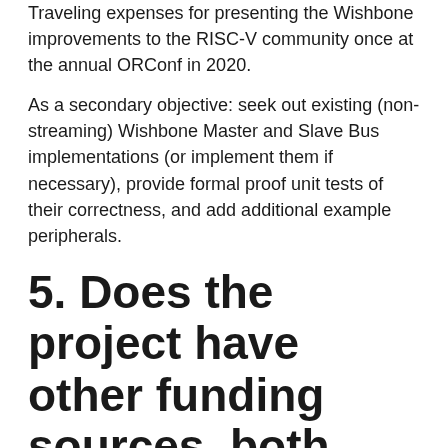Traveling expenses for presenting the Wishbone improvements to the RISC-V community once at the annual ORConf in 2020.
As a secondary objective: seek out existing (non-streaming) Wishbone Master and Slave Bus implementations (or implement them if necessary), provide formal proof unit tests of their correctness, and add additional example peripherals.
5. Does the project have other funding sources, both past and present?
The concept of extending Wishbone to have streaming capabilities is tied up, with a range of funding...